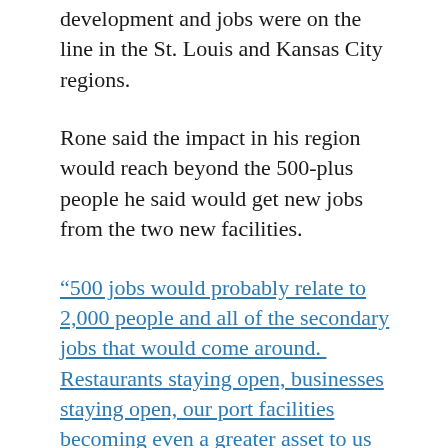development and jobs were on the line in the St. Louis and Kansas City regions.
Rone said the impact in his region would reach beyond the 500-plus people he said would get new jobs from the two new facilities.
“500 jobs would probably relate to 2,000 people and all of the secondary jobs that would come around.  Restaurants staying open, businesses staying open, our port facilities becoming even a greater asset to us here at New Madrid because of bringing in the alumina to make aluminum, back in to bringing the scrap metal in to making steel.  Our port becomes even more valuable than it is today,”